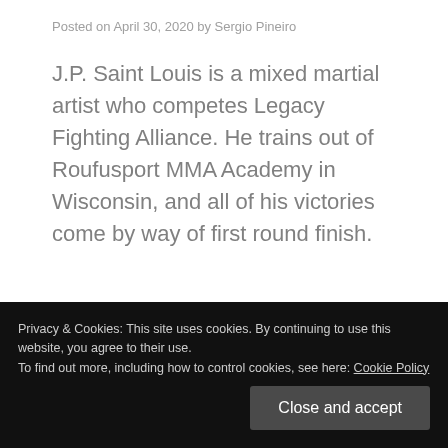Posted on April 30, 2020 by Sergio Pineiro
J.P. Saint Louis is a mixed martial artist who competes Legacy Fighting Alliance. He trains out of Roufusport MMA Academy in Wisconsin, and all of his victories come by way of first round finish.
Privacy & Cookies: This site uses cookies. By continuing to use this website, you agree to their use. To find out more, including how to control cookies, see here: Cookie Policy
Close and accept